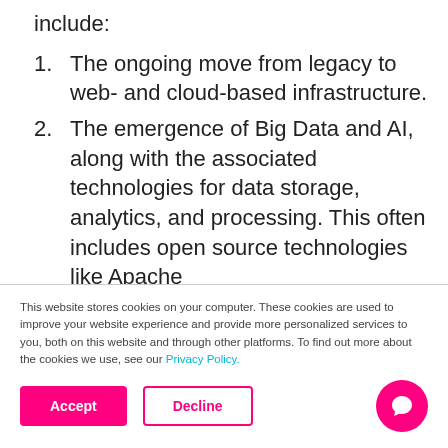include:
The ongoing move from legacy to web- and cloud-based infrastructure.
The emergence of Big Data and AI, along with the associated technologies for data storage, analytics, and processing. This often includes open source technologies like Apache
This website stores cookies on your computer. These cookies are used to improve your website experience and provide more personalized services to you, both on this website and through other platforms. To find out more about the cookies we use, see our Privacy Policy.